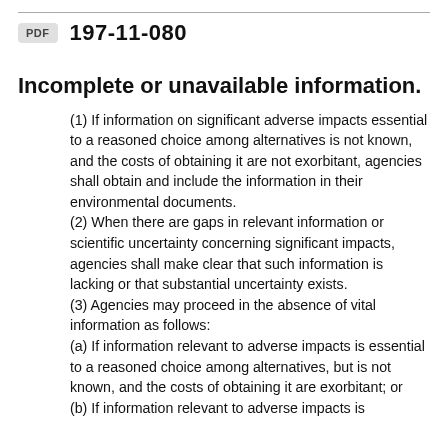PDF  197-11-080
Incomplete or unavailable information.
(1) If information on significant adverse impacts essential to a reasoned choice among alternatives is not known, and the costs of obtaining it are not exorbitant, agencies shall obtain and include the information in their environmental documents.
(2) When there are gaps in relevant information or scientific uncertainty concerning significant impacts, agencies shall make clear that such information is lacking or that substantial uncertainty exists.
(3) Agencies may proceed in the absence of vital information as follows:
(a) If information relevant to adverse impacts is essential to a reasoned choice among alternatives, but is not known, and the costs of obtaining it are exorbitant; or
(b) If information relevant to adverse impacts is